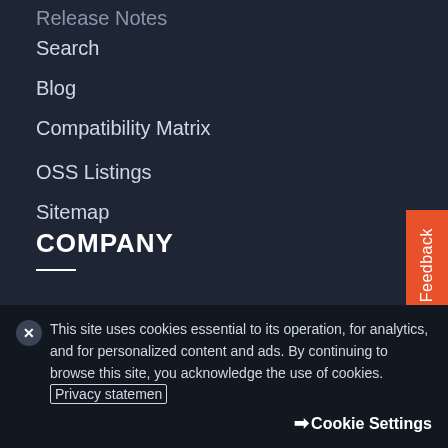Release Notes
Search
Blog
Compatibility Matrix
OSS Listings
Sitemap
COMPANY
About
Careers
Customer Support
LIVE Community
This site uses cookies essential to its operation, for analytics, and for personalized content and ads. By continuing to browse this site, you acknowledge the use of cookies. Privacy statemen
Cookie Settings